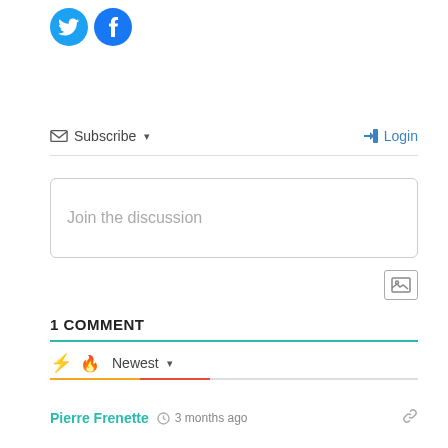[Figure (logo): Twitter and Facebook circular social media icons in blue]
Subscribe ▾
➜ Login
Join the discussion
1 COMMENT
⚡ 🔥 Newest ▾
Pierre Frenette  🕐 3 months ago